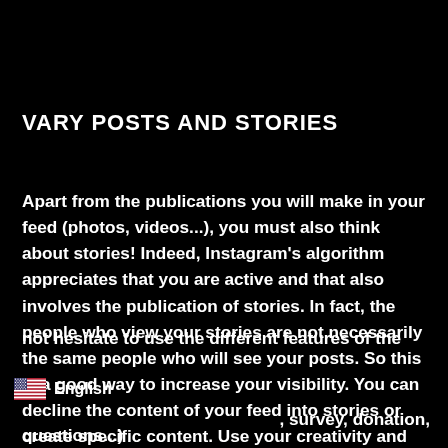VARY POSTS AND STORIES
Apart from the publications you will make in your feed (photos, videos...), you must also think about stories! Indeed, Instagram's algorithm appreciates that you are active and that also involves the publication of stories. In fact, the people who view your stories are not necessarily the same people who will see your posts. So this is a good way to increase your visibility. You can decline the content of your feed into stories or create specific content. Use your creativity and do not hesitate to use the different features of the insta
, survey, donation,
questions...)